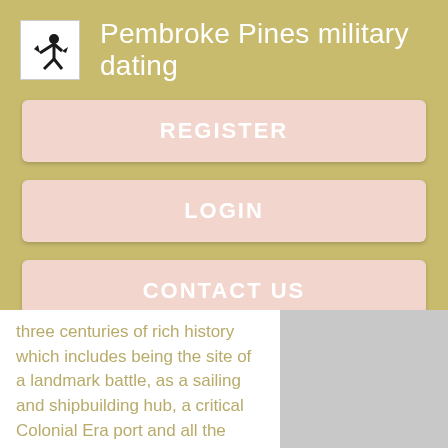Pembroke Pines military dating
REGISTER
LOGIN
CONTACT US
three centuries of rich history which includes being the site of a landmark battle, as a sailing and shipbuilding hub, a critical Colonial Era port and all the while continuing to have the distinction of hosting the oldest, continuous Fourth of July Celebration in